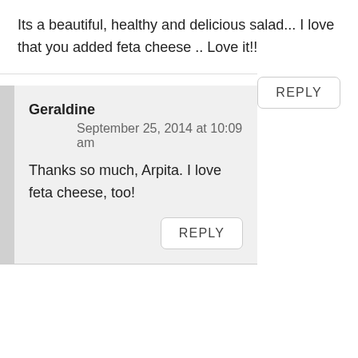Its a beautiful, healthy and delicious salad... I love that you added feta cheese .. Love it!!
REPLY
Geraldine
September 25, 2014 at 10:09 am
Thanks so much, Arpita. I love feta cheese, too!
REPLY